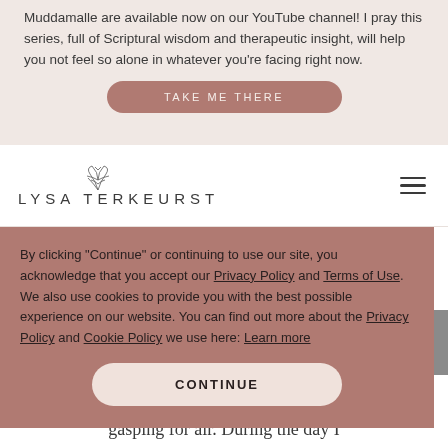Muddamalle are available now on our YouTube channel! I pray this series, full of Scriptural wisdom and therapeutic insight, will help you not feel so alone in whatever you're facing right now.
TAKE ME THERE
[Figure (logo): Lysa TerKeurst logo with leaf/botanical illustration above text]
By clicking "Continue" or continuing to use our site, you acknowledge that you accept our Privacy Policy and Terms of Use. We also use cookies to provide you with the best possible experience on our website. You can find out more about the Privacy Policy and Cookie Policy we use here: Learn more
CONTINUE
gasping for air. During the day I